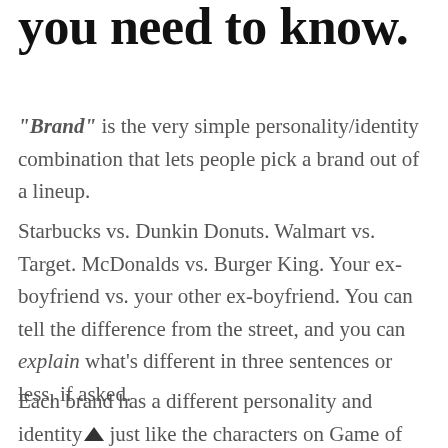you need to know.
“Brand” is the very simple personality/identity combination that lets people pick a brand out of a lineup.
Starbucks vs. Dunkin Donuts. Walmart vs. Target. McDonalds vs. Burger King. Your ex-boyfriend vs. your other ex-boyfriend. You can tell the difference from the street, and you can explain what’s different in three sentences or less, if asked.
Each brand has a different personality and identity, just like the characters on Game of Thrones.